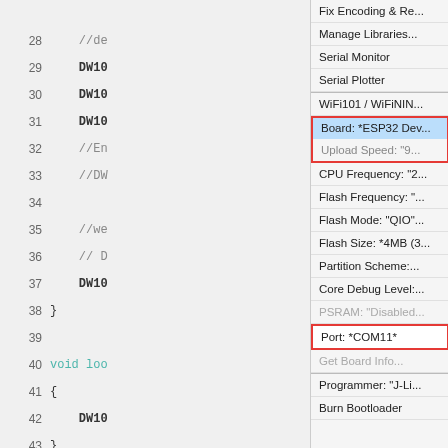[Figure (screenshot): Arduino IDE screenshot showing code editor on left with line numbers 28-47, and Tools menu open on right showing board settings including Board: *ESP32 Dev, Port: *COM11*, and other configuration options. Two items are highlighted with red boxes: Board selection and Port selection.]